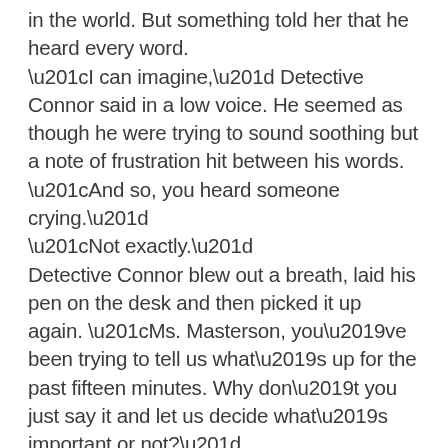in the world. But something told her that he heard every word.
“I can imagine,” Detective Connor said in a low voice. He seemed as though he were trying to sound soothing but a note of frustration hit between his words. “And so, you heard someone crying.”
“Not exactly.”
Detective Connor blew out a breath, laid his pen on the desk and then picked it up again. “Ms. Masterson, you’ve been trying to tell us what’s up for the past fifteen minutes. Why don’t you just say it and let us decide what’s important or not?”
The detective looked to his partner sitting at the next desk. Detective Gilchrist gave him a bare nod. So far, that was the most interaction she’d seen from him.
Amanda took a deep breath and braced herself to